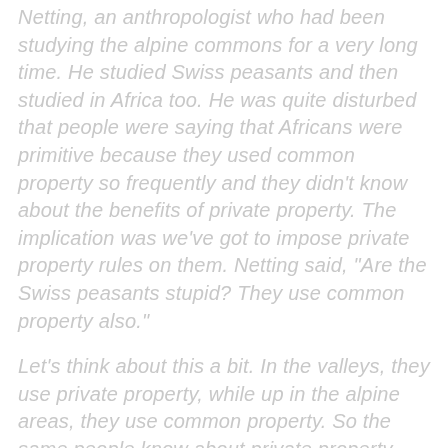Netting, an anthropologist who had been studying the alpine commons for a very long time. He studied Swiss peasants and then studied in Africa too. He was quite disturbed that people were saying that Africans were primitive because they used common property so frequently and they didn't know about the benefits of private property. The implication was we've got to impose private property rules on them. Netting said, "Are the Swiss peasants stupid? They use common property also."
Let's think about this a bit. In the valleys, they use private property, while up in the alpine areas, they use common property. So the same people know about private property and common property, but they choose to use common property for the alpine areas. Why? Well, the alpine areas are what Netting calls "spotty." The rainfall is high in one section one year, and the snow is great, and it's rich. But the other parts of the area are dry. Now if